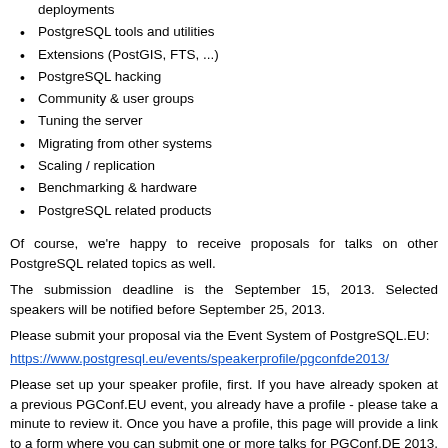deployments
PostgreSQL tools and utilities
Extensions (PostGIS, FTS, ...)
PostgreSQL hacking
Community & user groups
Tuning the server
Migrating from other systems
Scaling / replication
Benchmarking & hardware
PostgreSQL related products
Of course, we're happy to receive proposals for talks on other PostgreSQL related topics as well.
The submission deadline is the September 15, 2013. Selected speakers will be notified before September 25, 2013.
Please submit your proposal via the Event System of PostgreSQL.EU:
https://www.postgresql.eu/events/speakerprofile/pgconfde2013/
Please set up your speaker profile, first. If you have already spoken at a previous PGConf.EU event, you already have a profile - please take a minute to review it. Once you have a profile, this page will provide a link to a form where you can submit one or more talks for PGConf.DE 2013. When the site prompts for a login, use your regular postgresql.org community account.